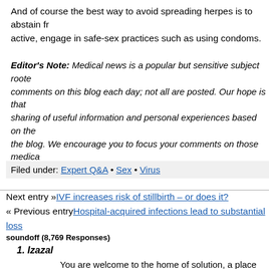And of course the best way to avoid spreading herpes is to abstain from being sexually active, engage in safe-sex practices such as using condoms.
Editor's Note: Medical news is a popular but sensitive subject rooted in science. We receive many comments on this blog each day; not all are posted. Our hope is that much of our content will be a sharing of useful information and personal experiences based on the medical and health topics of the blog. We encourage you to focus your comments on those medical and health topics and we appreciate your input. Thank you for your participation.
Filed under: Expert Q&A • Sex • Virus
Next entry »IVF increases risk of stillbirth – or does it?
« Previous entryHospital-acquired infections lead to substantial loss
soundoff (8,769 Responses)
Izazal
You are welcome to the home of solution, a place where you can get your problem solved, cry no more, worry no more. I am are here to help you get your problem solved, we prepare medicine that can cure all kind of disease such as Herpes *Arthritis *Diabetes *Hypertension*Stroke *Obesity *Infertility *Infection *Ulcer *Asthma *Weight Management *Gonorrhea/...